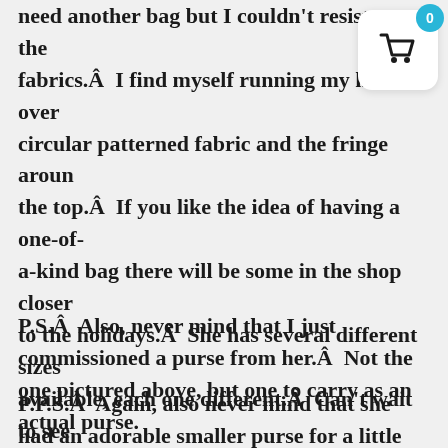need another bag but I couldn't resist the fabrics.Â  I find myself running my hand over circular patterned fabric and the fringe around the top.Â  If you like the idea of having a one-of-a-kind bag there will be some in the shop closer to the holidays.Â  She has several different sizes available, each one different.Â  Can't wait to see what she comes up with! – Susan
[Figure (other): Shopping cart widget with blue badge showing 0 and basket icon on white rounded rectangle]
P.S.Â  Also, never mind that I just commissioned a purse from her.Â  Not the one pictured above, but one to carry as an actual purse.
P.P.S.Â  Again, also never mind that she had an adorable smaller purse for a little girl that I just